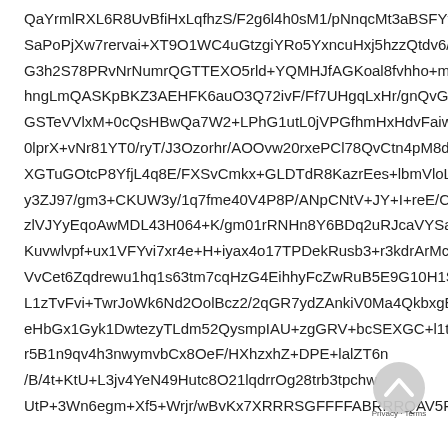QaYrmlRXL6R8UvBfiHxLqfhzS/F2g6l4h0sM1/pNnqcMt3aBSFYyx
SaPoPjXw7rervai+XT9O1WC4uGtzgiYRo5YxncuHxj5hzzQtdv6/qw
G3h2S78PRvNrNumrQGTTEXO5rld+YQMHJfAGKoal8fvhho+mya
hngLmQASKpBKZ3AEHFK6auO3Q72ivF/Ff7UHgqLxHr/gnQvGXh
GSTeVVlxM+0cQsHBwQa7W2+LPhG1utL0jVPGfhmHxHdvFaiwj1S
0lprX+vNr81YT0/ryT/J3Ozorhr/AOOvw20rxePCl78QvCtn4pM8dq
XGTuGOtcP8YfjL4q8E/FXSvCmkx+GLDTdR8KazrEes+lbmVloLu0
y3ZJ97/gm3+CKUW3y/1q7fme40V4P8P/ANpCNtV+JY+I+reE/Cej
zlVJYyEqoAwMDL43H064+K/gm01rRNHn8Y6BDq2uRJcaVYSapAs
Kuvwlvpf+ux1VFYvi7xr4e+H+iyax4o17TPDekRusb3+r3kdrArMcK
VvCet6Zqdrewu1hq1s63tm7cqHzG4EihhyFcZwRuB5E9G10H1SZt
L1zTvFvi+TwrJoWk6Nd2OolBcz2/2qGR7ydZAnkiV0Ma4QkbxgE9
eHbGx1Gyk1DwtezyTLdm52QysmpIAU+zgGRV+bcSEXGC+l1tqv
r5B1n9qv4h3nwymvbCx8OeF/HXhzxhZ+DPE+lalZT6n
/B/4t+KtU+L3jv4YeN49Hutc8O21lqdrrOg28trb3tpchw
UtP+3Wn6egm+Xf5+Wrjr/wBvKx7XRRRSGFFFFABRRRQAV5P+0
[Figure (other): A circular badge/button overlay in the bottom-right corner, gray with a white upward-pointing chevron arrow, and text 'Privacy · Terms' below it.]